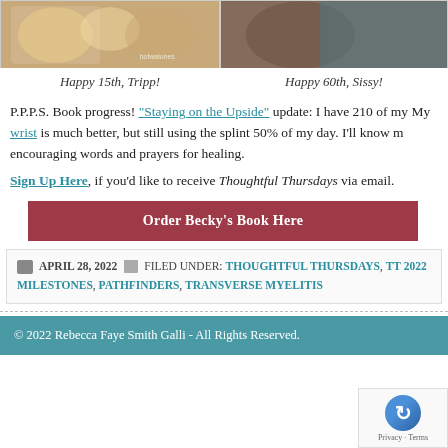[Figure (photo): Photo collage of dogs (Tripp) on left side]
[Figure (photo): Photo of a person (Sissy) on right side]
Happy 15th, Tripp!
Happy 60th, Sissy!
P.P.P.S. Book progress! "Staying on the Upside" update: I have 210 of my My wrist is much better, but still using the splint 50% of my day. I'll know encouraging words and prayers for healing.
Sign Up Here, if you'd like to receive Thoughtful Thursdays via email.
Order Becky's Book Here
APRIL 28, 2022   FILED UNDER: THOUGHTFUL THURSDAYS, TT 2022 MILESTONES, PATHFINDERS, TRANSVERSE MYELITIS
© 2022 Rebecca Faye Smith Galli - All Rights Reserved.